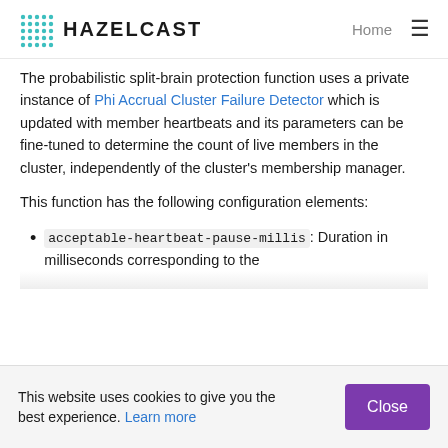HAZELCAST | Home
The probabilistic split-brain protection function uses a private instance of Phi Accrual Cluster Failure Detector which is updated with member heartbeats and its parameters can be fine-tuned to determine the count of live members in the cluster, independently of the cluster's membership manager.
This function has the following configuration elements:
acceptable-heartbeat-pause-millis: Duration in milliseconds corresponding to the
This website uses cookies to give you the best experience. Learn more